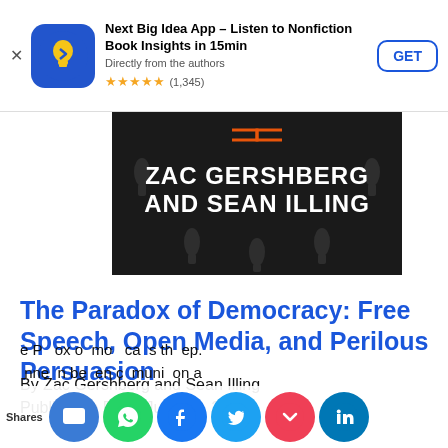[Figure (screenshot): App store ad banner for Next Big Idea App with icon, title, subtitle, star rating, and GET button]
[Figure (photo): Book cover with dark background showing author names: ZAC GERSHBERG AND SEAN ILLING in white bold text, with microphone icons in background]
The Paradox of Democracy: Free Speech, Open Media, and Perilous Persuasion
By Zac Gershberg and Sean Illing
Publication Date: June 10, 2022
The Paradox of Democracy examines the deep connection between communication a...
[Figure (screenshot): Social share bar showing Shares label and icons for SMS, WhatsApp, Facebook, Twitter, Pocket, LinkedIn]